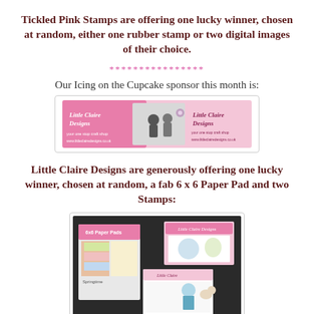Tickled Pink Stamps are offering one lucky winner, chosen at random, either one rubber stamp or two digital images of their choice.
****************
Our Icing on the Cupcake sponsor this month is:
[Figure (photo): Little Claire Designs banner/logo image showing pink banner with text 'Little Claire Designs']
Little Claire Designs are generously offering one lucky winner, chosen at random, a fab 6 x 6 Paper Pad and two Stamps:
[Figure (photo): Photo of craft products: paper pad and stamp sets with colorful packaging]